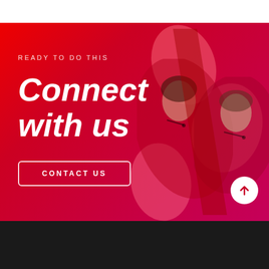[Figure (illustration): Red gradient promotional banner with decorative blob shapes and customer service representatives wearing headsets in the background]
READY TO DO THIS
Connect with us
CONTACT US
[Figure (infographic): Scroll-to-top circular white button with upward arrow]
[Figure (infographic): Dark mode toggle circular button with crescent moon icon]
Quick Link